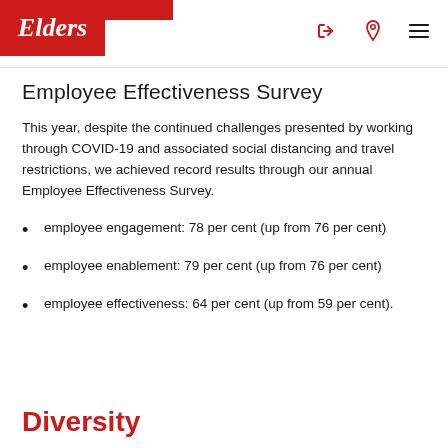Elders
Employee Effectiveness Survey
This year, despite the continued challenges presented by working through COVID-19 and associated social distancing and travel restrictions, we achieved record results through our annual Employee Effectiveness Survey.
employee engagement: 78 per cent (up from 76 per cent)
employee enablement: 79 per cent (up from 76 per cent)
employee effectiveness: 64 per cent (up from 59 per cent).
Diversity